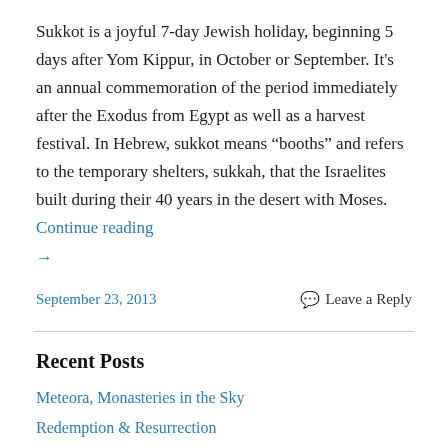Sukkot is a joyful 7-day Jewish holiday, beginning 5 days after Yom Kippur, in October or September. It's an annual commemoration of the period immediately after the Exodus from Egypt as well as a harvest festival. In Hebrew, sukkot means “booths” and refers to the temporary shelters, sukkah, that the Israelites built during their 40 years in the desert with Moses. Continue reading →
September 23, 2013
Leave a Reply
Recent Posts
Meteora, Monasteries in the Sky
Redemption & Resurrection